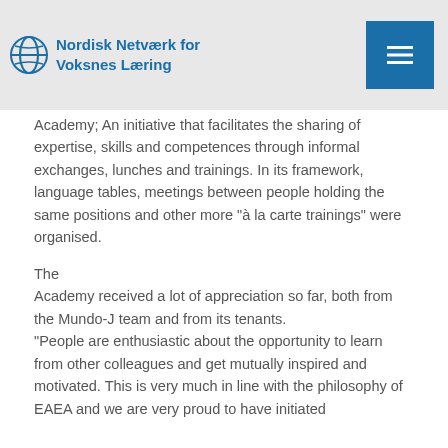Nordisk Netværk for Voksnes Læring
Academy; An initiative that facilitates the sharing of expertise, skills and competences through informal exchanges, lunches and trainings. In its framework, language tables, meetings between people holding the same positions and other more "à la carte trainings" were organised.
The Academy received a lot of appreciation so far, both from the Mundo-J team and from its tenants. "People are enthusiastic about the opportunity to learn from other colleagues and get mutually inspired and motivated. This is very much in line with the philosophy of EAEA and we are very proud to have initiated